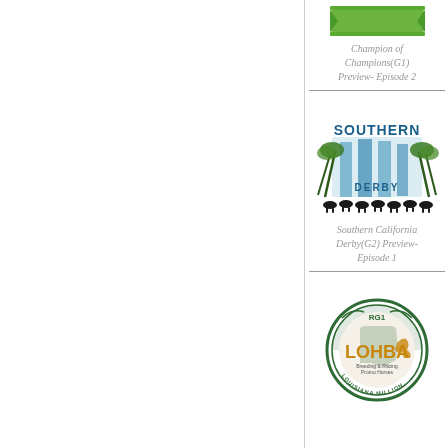[Figure (logo): Green banner/ribbon logo for Champion of Champions race]
Champion of Champions(G1) Preview- Episode 2
[Figure (logo): Southern Derby logo with horses and palm trees silhouette]
Southern California Derby(G2) Preview- Episode 1
[Figure (logo): LOHBA Louisiana Million G1 Breeding & Racing Promo Horses circular badge logo]